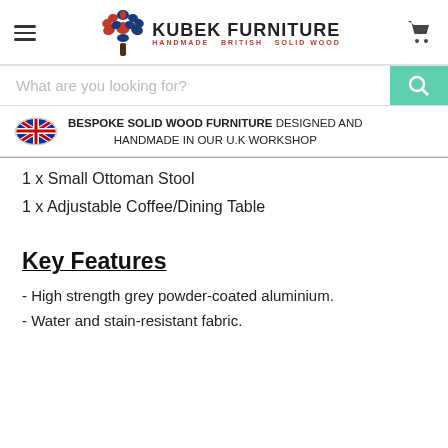KUBEK FURNITURE — HANDMADE BRITISH SOLID WOOD
What are you looking for?
BESPOKE SOLID WOOD FURNITURE DESIGNED AND HANDMADE IN OUR U.K WORKSHOP
1 x Small Ottoman Stool
1 x Adjustable Coffee/Dining Table
Key Features
- High strength grey powder-coated aluminium.
- Water and stain-resistant fabric.